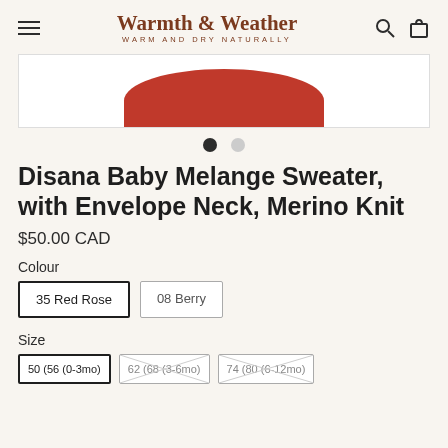Warmth & Weather — WARM AND DRY NATURALLY
[Figure (photo): Partial product photo of a red baby sweater on white background]
Disana Baby Melange Sweater, with Envelope Neck, Merino Knit
$50.00 CAD
Colour
35 Red Rose
08 Berry
Size
50 (56 (0-3mo)
62 (68 (3-6mo)
74 (80 (6-12mo)